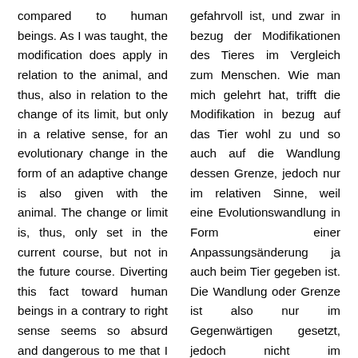compared to human beings. As I was taught, the modification does apply in relation to the animal, and thus, also in relation to the change of its limit, but only in a relative sense, for an evolutionary change in the form of an adaptive change is also given with the animal. The change or limit is, thus, only set in the current course, but not in the future course. Diverting this fact toward human beings in a contrary to right sense seems so absurd and dangerous to me that I would like to have this excerpt be cleared up and
gefahrvoll ist, und zwar in bezug der Modifikationen des Tieres im Vergleich zum Menschen. Wie man mich gelehrt hat, trifft die Modifikation in bezug auf das Tier wohl zu und so auch auf die Wandlung dessen Grenze, jedoch nur im relativen Sinne, weil eine Evolutionswandlung in Form einer Anpassungsänderung ja auch beim Tier gegeben ist. Die Wandlung oder Grenze ist also nur im Gegenwärtigen gesetzt, jedoch nicht im Zukunftsverlauf. Die Ableitung von diesem Fakt auf den Menschen in